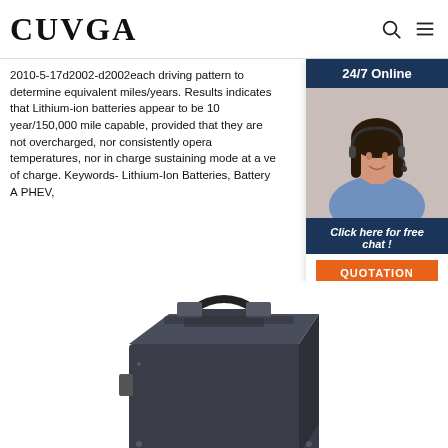CUVGA
2010-5-17d2002-d2002each driving pattern to determine equivalent miles/years. Results indicates that Lithium-ion batteries appear to be 10 year/150,000 mile capable, provided that they are not overcharged, nor consistently opera temperatures, nor in charge sustaining mode at a ve of charge. Keywords- Lithium-Ion Batteries, Battery A PHEV,
[Figure (infographic): 24/7 Online chat widget with a photo of a female customer service representative wearing a headset, dark navy background header with '24/7 Online', text 'Click here for free chat!' and an orange QUOTATION button]
Get Price
[Figure (photo): A dark grey/black rectangular lithium-ion battery pack with a handle on top, shown from a slightly elevated angle]